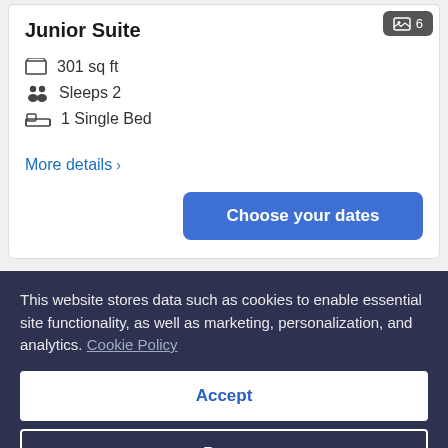Junior Suite
301 sq ft
Sleeps 2
1 Single Bed
More details ›
Choose your dates
This website stores data such as cookies to enable essential site functionality, as well as marketing, personalization, and analytics. Cookie Policy
Accept
Deny